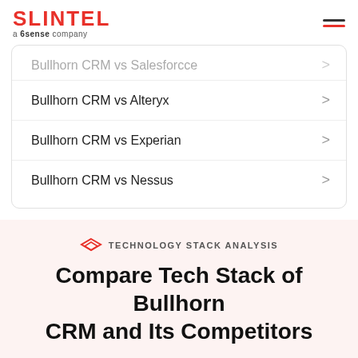SLINTEL a 6sense company
Bullhorn CRM vs Salesforcce
Bullhorn CRM vs Alteryx
Bullhorn CRM vs Experian
Bullhorn CRM vs Nessus
TECHNOLOGY STACK ANALYSIS
Compare Tech Stack of Bullhorn CRM and Its Competitors
Get the list of top 5 common technologies used by